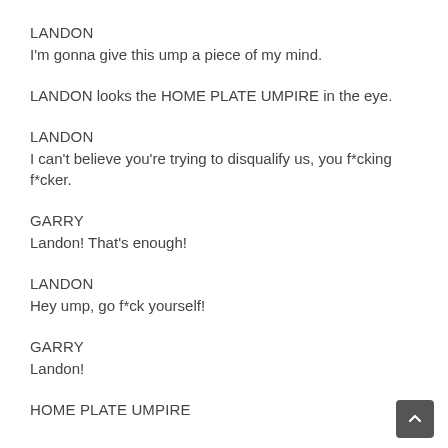LANDON
I'm gonna give this ump a piece of my mind.
LANDON looks the HOME PLATE UMPIRE in the eye.
LANDON
I can't believe you're trying to disqualify us, you f*cking f*cker.
GARRY
Landon! That's enough!
LANDON
Hey ump, go f*ck yourself!
GARRY
Landon!
HOME PLATE UMPIRE